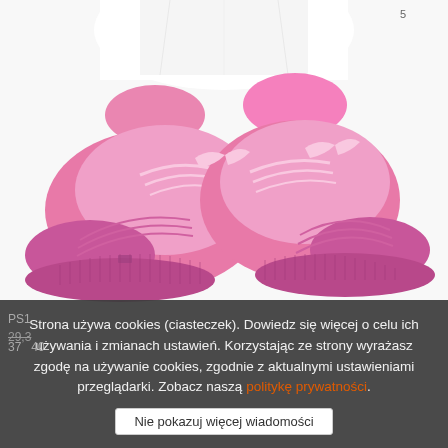[Figure (photo): Photo of bright pink/neon women's knit sneakers with pink laces and chunky pink sole, worn on feet with white pants, shot on white background]
PS1 29,3 37 40
Strona używa cookies (ciasteczek). Dowiedz się więcej o celu ich używania i zmianach ustawień. Korzystając ze strony wyrażasz zgodę na używanie cookies, zgodnie z aktualnymi ustawieniami przeglądarki. Zobacz naszą politykę prywatności.
Nie pokazuj więcej wiadomości